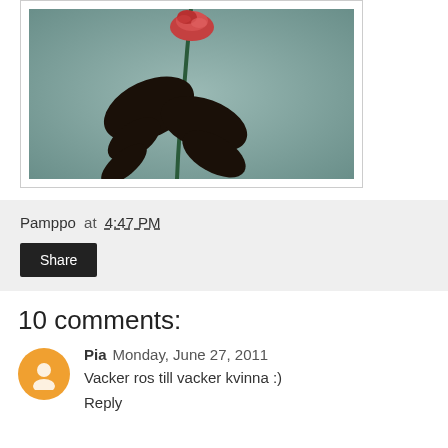[Figure (photo): A rose with dark silhouetted leaves on a teal/green-gray background, photo in a white card frame]
Pamppo at 4:47 PM
Share
10 comments:
Pia  Monday, June 27, 2011
Vacker ros till vacker kvinna :)
Reply